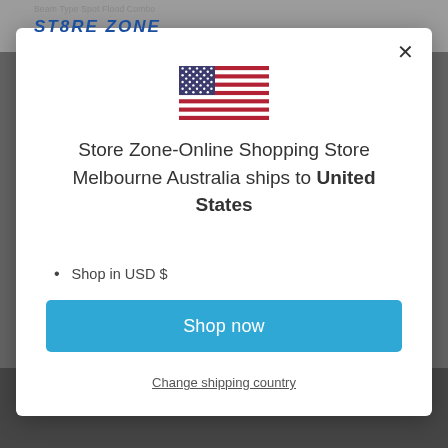[Figure (screenshot): Background of an e-commerce website (Store Zone) with dimmed overlay behind a modal dialog.]
[Figure (illustration): US flag icon displayed at the top center of the modal dialog.]
Store Zone-Online Shopping Store Melbourne Australia ships to United States
Shop in USD $
Get shipping options for United States
Shop now
Change shipping country